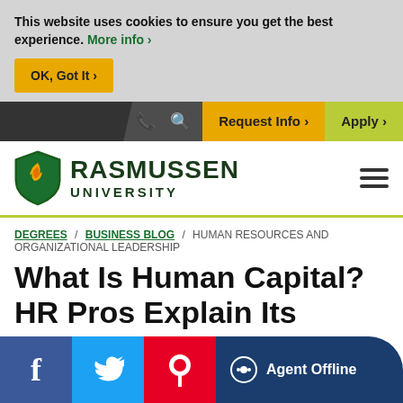This website uses cookies to ensure you get the best experience. More info ›
OK, Got It ›
Request Info › | Apply ›
[Figure (logo): Rasmussen University shield logo with flame and RASMUSSEN UNIVERSITY text]
DEGREES / BUSINESS BLOG / HUMAN RESOURCES AND ORGANIZATIONAL LEADERSHIP
What Is Human Capital? HR Pros Explain Its Importance
By Ashley Brooks on 10/29/2019
[Figure (infographic): Social share bar with Facebook, Twitter, Pinterest icons and Agent Offline chat button]